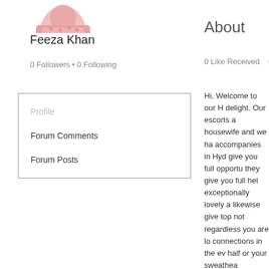[Figure (photo): Profile photo of Feeza Khan, partially visible at top]
Feeza Khan
0 Followers • 0 Following
Profile
Forum Comments
Forum Posts
About
0 Like Received   0 C
Hi, Welcome to our H delight. Our escorts a housewife and we ha accompanies in Hyd give you full opportu they give you full hel exceptionally lovely a likewise give top not regardless you are lo connections in the ev half or your sweethea relations with your In we will give you top t Girls in Hyderabad appointments of esc sex and they love ha determination the